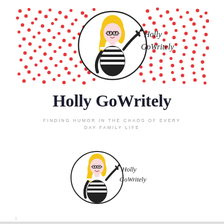[Figure (logo): Holly GoWritely banner logo: red polka-dot background rectangle with a circular illustration of a blonde woman with glasses and a striped top, holding a pen, with cursive text 'Holly GoWritely' to the right of the circle.]
Holly GoWritely
FINDING HUMOR IN THE CHAOS OF EVERY DAY FAMILY LIFE
[Figure (logo): Smaller version of the Holly GoWritely circular logo: blonde woman with glasses and striped top, holding a pen, with cursive 'Holly GoWritely' text beside the circle. No background pattern.]
1